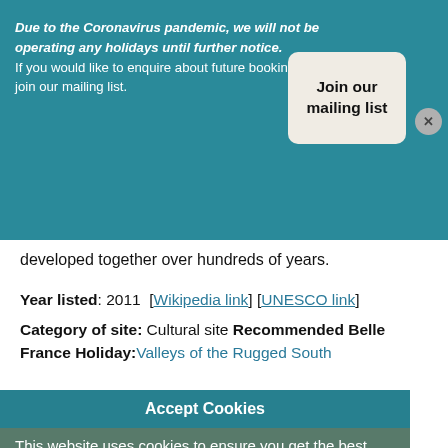Due to the Coronavirus pandemic, we will not be operating any holidays until further notice. If you would like to enquire about future bookings, please join our mailing list.
Join our mailing list
developed together over hundreds of years.
Year listed: 2011  [Wikipedia link] [UNESCO link]
Category of site: Cultural site Recommended Belle France Holiday: Valleys of the Rugged South
Accept Cookies
This website uses cookies to ensure you get the best experience on our website.
Learn more